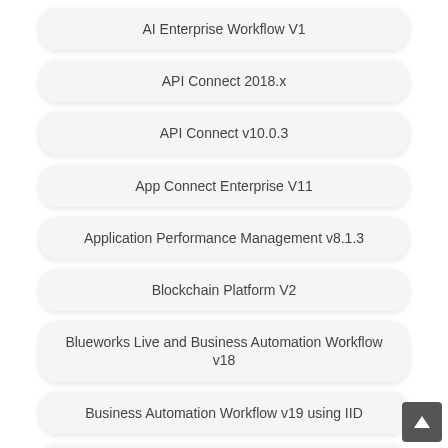AI Enterprise Workflow V1
API Connect 2018.x
API Connect v10.0.3
App Connect Enterprise V11
Application Performance Management v8.1.3
Blockchain Platform V2
Blueworks Live and Business Automation Workflow v18
Business Automation Workflow v19 using IID
Business Process Manager Advanced V8.5
Cloud Pak for Applications V4.1